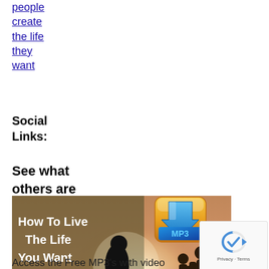people create the life they want
Social Links:
See what others are finding!
[Figure (illustration): Image showing 'How To Live The Life You Want' with a silhouette of a person against a sunset, a couple walking on a beach, and an MP3 download button icon.]
Access the Free MP3's with video